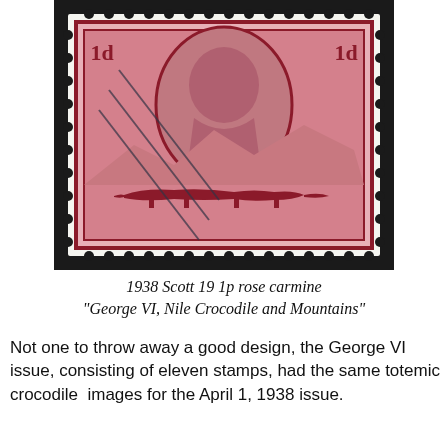[Figure (photo): A used postage stamp from Basutoland showing King George VI portrait in an oval frame, with a Nile crocodile and mountains in the background. The stamp is rose carmine (red/pink) colored, denomination 1d, with perforated edges and a cancellation postmark.]
1938 Scott 19 1p rose carmine
"George VI, Nile Crocodile and Mountains"
Not one to throw away a good design, the George VI issue, consisting of eleven stamps, had the same totemic crocodile images for the April 1, 1938 issue.
[Figure (photo): A postage stamp from Basutoland in blue/indigo color showing 'BASUTOLAND' text at top in a banner, with 'POSTAGE' and 'REVENUE' on either side of a crown emblem. The stamp has perforated edges.]